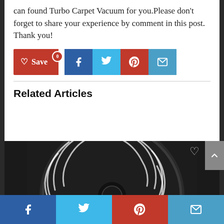can found Turbo Carpet Vacuum for you.Please don't forget to share your experience by comment in this post. Thank you!
[Figure (infographic): Social sharing buttons: Save (red with heart icon and badge 0), Facebook (dark blue with f icon), Twitter (light blue with bird icon), Pinterest (red with P icon), Email (blue with envelope icon)]
Related Articles
[Figure (photo): Bottom view of a circular turbo carpet vacuum brush attachment, dark/black in color with spiral vents and slotted openings. Heart/save icon visible in top right of image area.]
[Figure (infographic): Bottom sticky social sharing bar with four buttons: Facebook (blue), Twitter (light blue), Pinterest (red), Email (steel blue)]